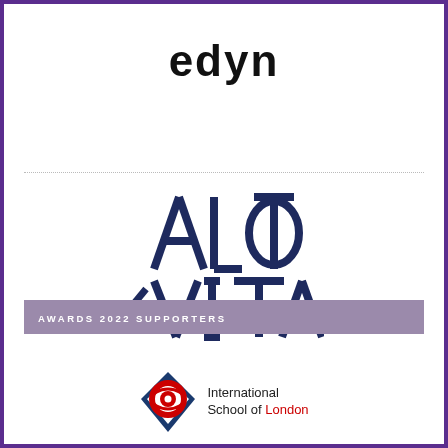[Figure (logo): edyn company logo in bold black lowercase text]
[Figure (logo): AltaVita logo in dark navy blue geometric lettering arranged in a large stacked typographic design]
AWARDS 2022 SUPPORTERS
[Figure (logo): International School of London logo with red and blue diamond shield emblem and text reading International School of London]